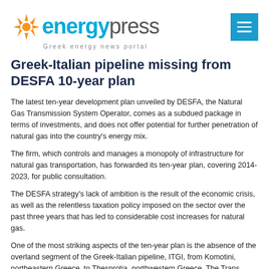[Figure (logo): Energypress logo with orange sunburst icon, 'energy' in cyan bold and 'press' in gray, tagline 'Greek energy news portal']
Greek-Italian pipeline missing from DESFA 10-year plan
The latest ten-year development plan unveiled by DESFA, the Natural Gas Transmission System Operator, comes as a subdued package in terms of investments, and does not offer potential for further penetration of natural gas into the country's energy mix.
The firm, which controls and manages a monopoly of infrastructure for natural gas transportation, has forwarded its ten-year plan, covering 2014-2023, for public consultation.
The DESFA strategy's lack of ambition is the result of the economic crisis, as well as the relentless taxation policy imposed on the sector over the past three years that has led to considerable cost increases for natural gas.
One of the most striking aspects of the ten-year plan is the absence of the overland segment of the Greek-Italian pipeline, ITGI, from Komotini, northeastern Greece, to Thesprotia, northwestern Greece. The Trans Adriatic